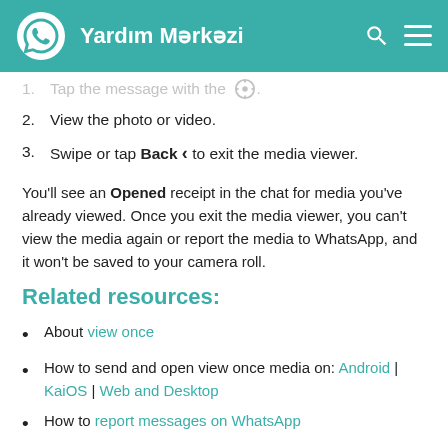Yardım Mərkəzi
1. Tap the message with the  icon.
2. View the photo or video.
3. Swipe or tap Back to exit the media viewer.
You'll see an Opened receipt in the chat for media you've already viewed. Once you exit the media viewer, you can't view the media again or report the media to WhatsApp, and it won't be saved to your camera roll.
Related resources:
About view once
How to send and open view once media on: Android | KaiOS | Web and Desktop
How to report messages on WhatsApp